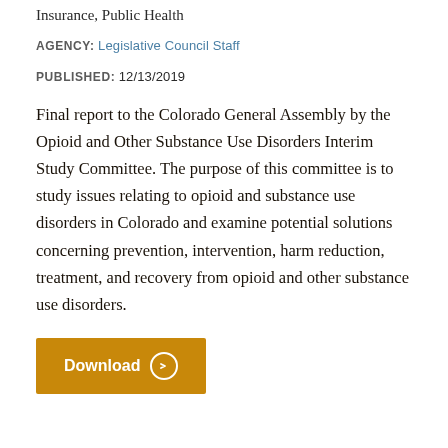Insurance, Public Health
AGENCY: Legislative Council Staff
PUBLISHED: 12/13/2019
Final report to the Colorado General Assembly by the Opioid and Other Substance Use Disorders Interim Study Committee. The purpose of this committee is to study issues relating to opioid and substance use disorders in Colorado and examine potential solutions concerning prevention, intervention, harm reduction, treatment, and recovery from opioid and other substance use disorders.
[Figure (other): Orange download button with right-arrow circle icon and text 'Download']